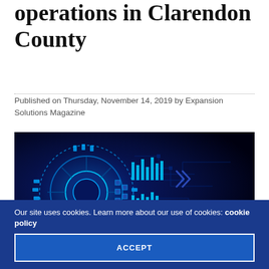operations in Clarendon County
Published on Thursday, November 14, 2019 by Expansion Solutions Magazine
[Figure (illustration): Futuristic blue digital circuit board / technology gear graphic with glowing neon cyan elements on dark blue/black background, with double chevron arrows pointing right.]
Our site uses cookies. Learn more about our use of cookies: cookie policy
ACCEPT